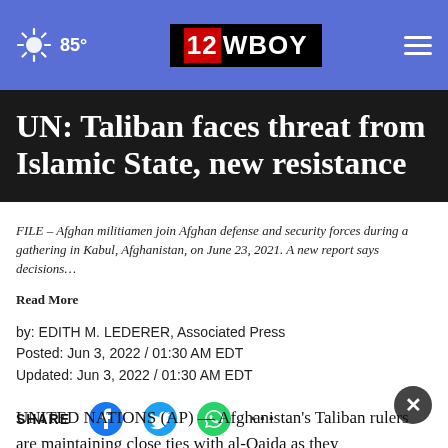85° | 12WBOY
UN: Taliban faces threat from Islamic State, new resistance
FILE – Afghan militiamen join Afghan defense and security forces during a gathering in Kabul, Afghanistan, on June 23, 2021. A new report says decisions… Read More
by: EDITH M. LEDERER, Associated Press
Posted: Jun 3, 2022 / 01:30 AM EDT
Updated: Jun 3, 2022 / 01:30 AM EDT
UNITED NATIONS (AP) — Afghanistan's Taliban rulers are maintaining close ties with al-Qaida as they